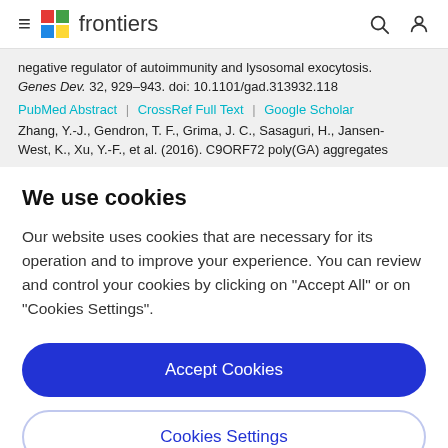frontiers
negative regulator of autoimmunity and lysosomal exocytosis. Genes Dev. 32, 929–943. doi: 10.1101/gad.313932.118
PubMed Abstract | CrossRef Full Text | Google Scholar
Zhang, Y.-J., Gendron, T. F., Grima, J. C., Sasaguri, H., Jansen-West, K., Xu, Y.-F., et al. (2016). C9ORF72 poly(GA) aggregates
We use cookies
Our website uses cookies that are necessary for its operation and to improve your experience. You can review and control your cookies by clicking on "Accept All" or on "Cookies Settings".
Accept Cookies
Cookies Settings